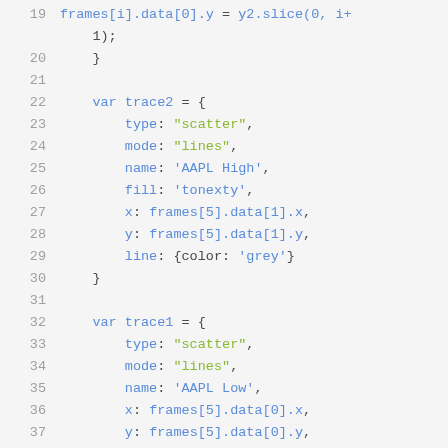Code snippet showing JavaScript variable declarations for trace2 and trace1 with scatter plot configuration using frames data references.